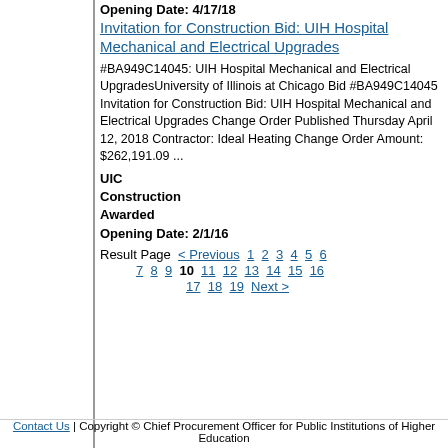Opening Date: 4/17/18
Invitation for Construction Bid: UIH Hospital Mechanical and Electrical Upgrades
#BA949C14045: UIH Hospital Mechanical and Electrical UpgradesUniversity of Illinois at Chicago Bid #BA949C14045 Invitation for Construction Bid: UIH Hospital Mechanical and Electrical Upgrades Change Order Published Thursday April 12, 2018 Contractor: Ideal Heating Change Order Amount: $262,191.09 ...
UIC Construction Awarded
Opening Date: 2/1/16
Result Page  < Previous  1  2  3  4  5  6  7  8  9  10  11  12  13  14  15  16  17  18  19  Next >
Contact Us | Copyright © Chief Procurement Officer for Public Institutions of Higher Education